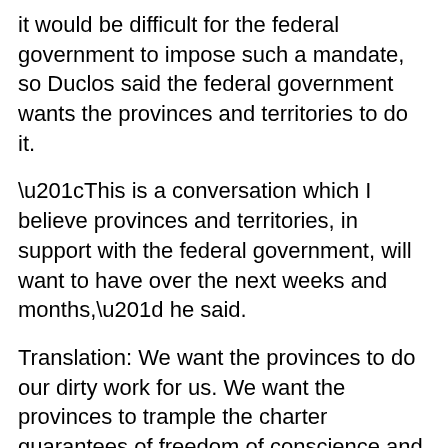it would be difficult for the federal government to impose such a mandate, so Duclos said the federal government wants the provinces and territories to do it.
“This is a conversation which I believe provinces and territories, in support with the federal government, will want to have over the next weeks and months,” he said.
Translation: We want the provinces to do our dirty work for us. We want the provinces to trample the charter guarantees of freedom of conscience and religion and the right to life, liberty and security of the person.
That’s what a mandatory vaccination policy would do.
I may be triple vaxxed and encourage everyone to get their shots, but I don’t want to live in a country where governments can force any medical intervention on a citizen as a condition of living. Most mandates so far